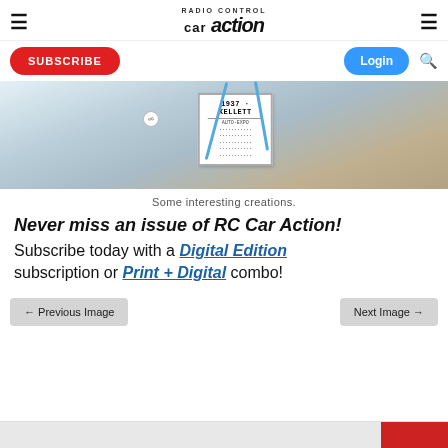RC Car Action — navigation header with hamburger menus, logo, Subscribe button, Login button, search icon
[Figure (photo): A framed sign reading '1937 KELLETT AUTO EXPO' on a display table with blue frame/tubing and small tags visible in the background.]
Some interesting creations.
Never miss an issue of RC Car Action! Subscribe today with a Digital Edition subscription or Print + Digital combo!
← Previous Image    Next Image →